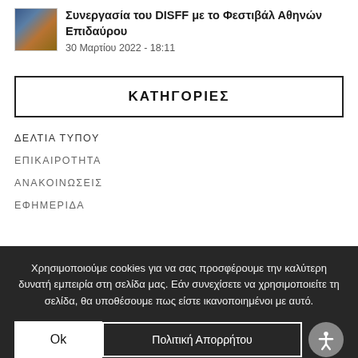[Figure (photo): Thumbnail image for article about DISFF collaboration with Athens Epidaurus Festival]
Συνεργασία του DISFF με το Φεστιβάλ Αθηνών Επιδαύρου
30 Μαρτίου 2022 - 18:11
ΚΑΤΗΓΟΡΙΕΣ
ΔΕΛΤΙΑ ΤΥΠΟΥ
ΕΠΙΚΑΙΡΟΤΗΤΑ
ΑΝΑΚΟΙΝΩΣΕΙΣ
ΕΦΗΜΕΡΙΔΑ
Χρησιμοποιούμε cookies για να σας προσφέρουμε την καλύτερη δυνατή εμπειρία στη σελίδα μας. Εάν συνεχίσετε να χρησιμοποιείτε τη σελίδα, θα υποθέσουμε πως είστε ικανοποιημένοι με αυτό.
Ok
Πολιτική Απορρήτου